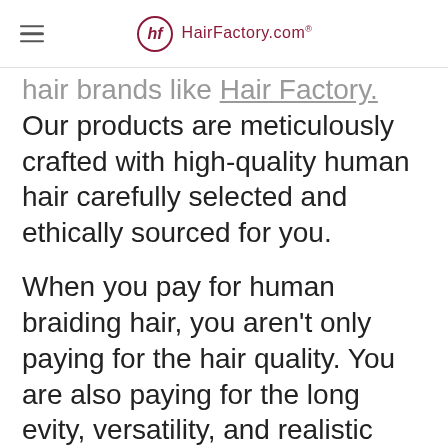HairFactory.com®
hair brands like Hair Factory. Our products are meticulously crafted with high-quality human hair carefully selected and ethically sourced for you.

When you pay for human braiding hair, you aren't only paying for the hair quality. You are also paying for the longevity, versatility, and realistic finish, to name a few.